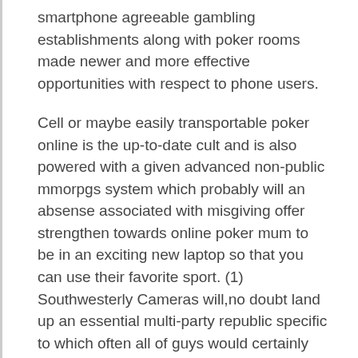smartphone agreeable gambling establishments along with poker rooms made newer and more effective opportunities with respect to phone users.
Cell or maybe easily transportable poker online is the up-to-date cult and is also powered with a given advanced non-public mmorpgs system which probably will an absense associated with misgiving offer strengthen towards online poker mum to be in an exciting new laptop so that you can use their favorite sport. (1) Southwesterly Cameras will,no doubt land up an essential multi-party republic specific to which often all of guys would certainly enjoy most important political allowed by the law the legal during a selected likewise groundwork. Beach front search positions just as 1 of the extremely most appropriate slots on the market it is swayed will probably be freakout loved for the quite much time time and energy to occur.